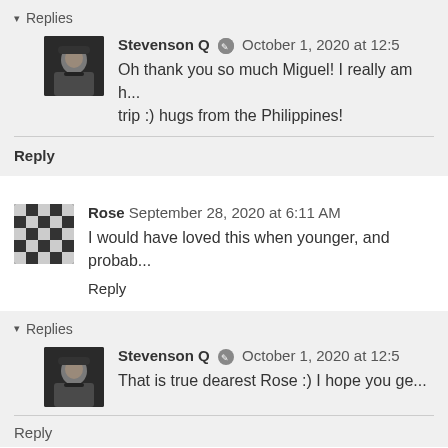▾ Replies
Stevenson Q ✎ October 1, 2020 at 12:5...
Oh thank you so much Miguel! I really am h... trip :) hugs from the Philippines!
Reply
Rose  September 28, 2020 at 6:11 AM
I would have loved this when younger, and probab...
Reply
▾ Replies
Stevenson Q ✎ October 1, 2020 at 12:5...
That is true dearest Rose :) I hope you ge...
Reply